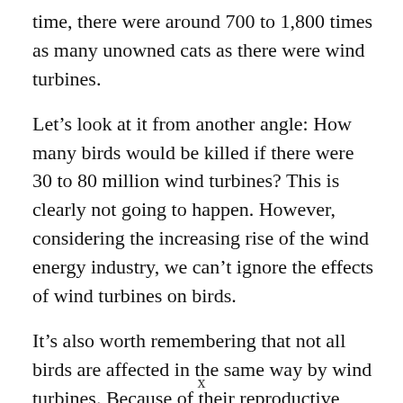time, there were around 700 to 1,800 times as many unowned cats as there were wind turbines.
Let's look at it from another angle: How many birds would be killed if there were 30 to 80 million wind turbines? This is clearly not going to happen. However, considering the increasing rise of the wind energy industry, we can't ignore the effects of wind turbines on birds.
It's also worth remembering that not all birds are affected in the same way by wind turbines. Because of their reproductive ecology, some bird species are more vulnerable to turbine crashes and less capable of effectively recovering.
x